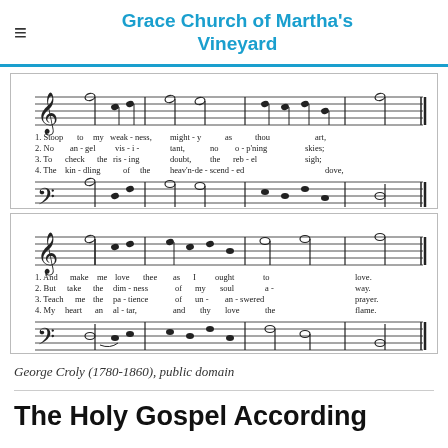Grace Church of Martha's Vineyard
[Figure (illustration): Sheet music for a hymn, first system. Treble and bass clef staves with notes. Lyrics below treble clef: 1. Stoop to my weak-ness, might-y as thou art, / 2. No an-gel vis-i-tant, no o-p'ning skies; / 3. To check the ris-ing doubt, the reb-el sigh; / 4. The kin-dling of the heav'n-de-scend-ed dove,]
[Figure (illustration): Sheet music for a hymn, second system. Treble and bass clef staves with notes. Lyrics below treble clef: 1. And make me love thee as I ought to love, / 2. But take the dim-ness of my soul a-way, / 3. Teach me the pa-tience of un-an-swered prayer, / 4. My heart an al-tar, and thy love the flame,]
George Croly (1780-1860),  public domain
The Holy Gospel According